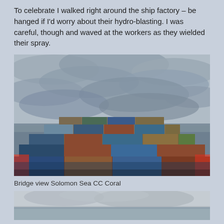To celebrate I walked right around the ship factory – be hanged if I'd worry about their hydro-blasting. I was careful, though and waved at the workers as they wielded their spray.
[Figure (photo): View from the bridge of a cargo ship loaded with multicoloured shipping containers (blue, red/rust, teal, beige) on a calm grey sea under an overcast cloudy sky — Solomon Sea aboard CC Coral.]
Bridge view Solomon Sea CC Coral
[Figure (photo): Partial view of another photograph, showing a misty or hazy seascape or landscape, cut off at the bottom of the page.]